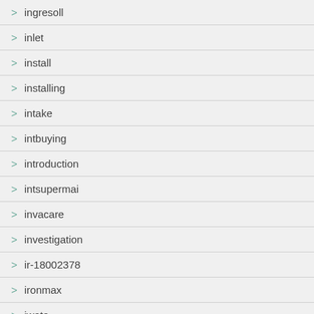> ingresoll
> inlet
> install
> installing
> intake
> intbuying
> introduction
> intsupermai
> invacare
> investigation
> ir-18002378
> ironmax
> iwata